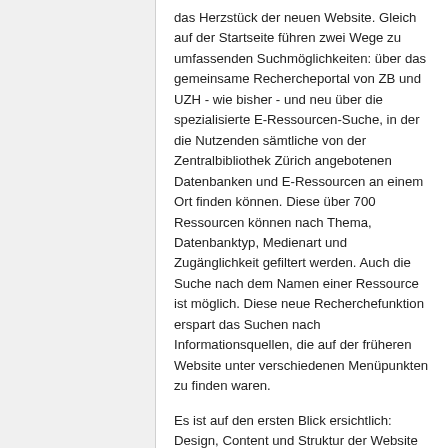das Herzstück der neuen Website. Gleich auf der Startseite führen zwei Wege zu umfassenden Suchmöglichkeiten: über das gemeinsame Rechercheportal von ZB und UZH - wie bisher - und neu über die spezialisierte E-Ressourcen-Suche, in der die Nutzenden sämtliche von der Zentralbibliothek Zürich angebotenen Datenbanken und E-Ressourcen an einem Ort finden können. Diese über 700 Ressourcen können nach Thema, Datenbanktyp, Medienart und Zugänglichkeit gefiltert werden. Auch die Suche nach dem Namen einer Ressource ist möglich. Diese neue Recherchefunktion erspart das Suchen nach Informationsquellen, die auf der früheren Website unter verschiedenen Menüpunkten zu finden waren.
Es ist auf den ersten Blick ersichtlich: Design, Content und Struktur der Website sind frisch und zeitgemäss. Sie kann auf beliebigen Endgeräten einfach und übersichtlich genutzt werden. Die Inhalte sind neu in sechs Übersichtsseiten gegliedert. Diese klare